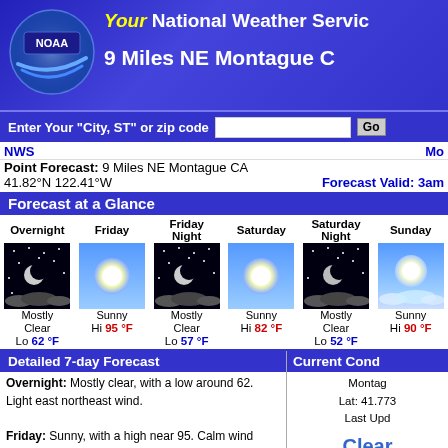[Figure (screenshot): NOAA National Weather Service website header with logo, title 'Your National Weather Service', location '9 Miles NE Montague CA', and search bar]
NWS
Point Forecast: 9 Miles NE Montague CA
41.82°N 122.41°W
Forecast Valid: 3am
Forecast at a Glance
| Overnight | Friday | Friday Night | Saturday | Saturday Night | Sunday |
| --- | --- | --- | --- | --- | --- |
| Mostly Clear | Sunny | Mostly Clear | Sunny | Mostly Clear | Sunny |
| Lo 62 °F | Hi 95 °F | Lo 57 °F | Hi 82 °F | Lo 52 °F | Hi 90 °F |
Detailed 7-day Forecast
Overnight: Mostly clear, with a low around 62. Light east northeast wind.
Friday: Sunny, with a high near 95. Calm wind becoming northwest between 4 and 7 mph.
Friday Night: Mostly clear, with a low around 57. North
Current Cond
Montague
Lat: 41.773...
Last Upd...
Clear